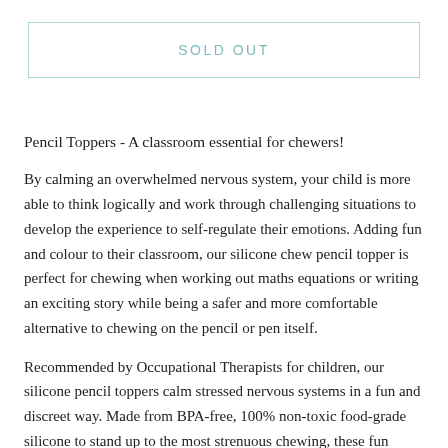SOLD OUT
Pencil Toppers - A classroom essential for chewers!
By calming an overwhelmed nervous system, your child is more able to think logically and work through challenging situations to develop the experience to self-regulate their emotions. Adding fun and colour to their classroom, our silicone chew pencil topper is perfect for chewing when working out maths equations or writing an exciting story while being a safer and more comfortable alternative to chewing on the pencil or pen itself.
Recommended by Occupational Therapists for children, our silicone pencil toppers calm stressed nervous systems in a fun and discreet way. Made from BPA-free, 100% non-toxic food-grade silicone to stand up to the most strenuous chewing, these fun pencil toppers are a classroom essential.